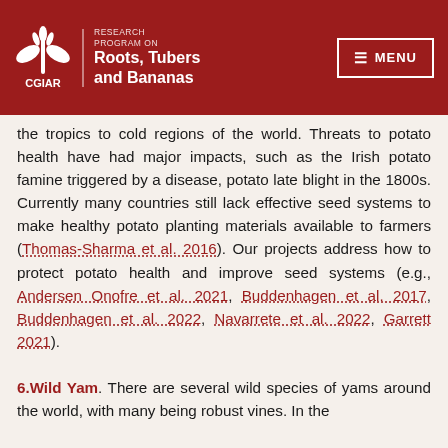CGIAR Research Program on Roots, Tubers and Bananas | MENU
the tropics to cold regions of the world. Threats to potato health have had major impacts, such as the Irish potato famine triggered by a disease, potato late blight in the 1800s. Currently many countries still lack effective seed systems to make healthy potato planting materials available to farmers (Thomas-Sharma et al. 2016). Our projects address how to protect potato health and improve seed systems (e.g., Andersen Onofre et al. 2021, Buddenhagen et al. 2017, Buddenhagen et al. 2022, Navarrete et al. 2022, Garrett 2021).
6.Wild Yam. There are several wild species of yams around the world, with many being robust vines. In the